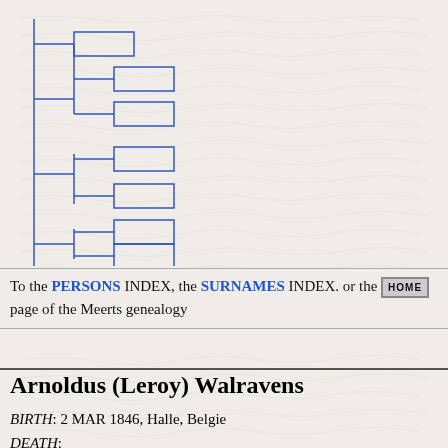[Figure (other): Genealogy family tree diagram with blue dashed bracket lines showing ancestor connections, displayed in upper left portion of the page]
To the PERSONS INDEX, the SURNAMES INDEX. or the HOME page of the Meerts genealogy
Arnoldus (Leroy) Walravens
BIRTH: 2 MAR 1846, Halle, Belgie
DEATH:
OCCUPATION: schoenmaker